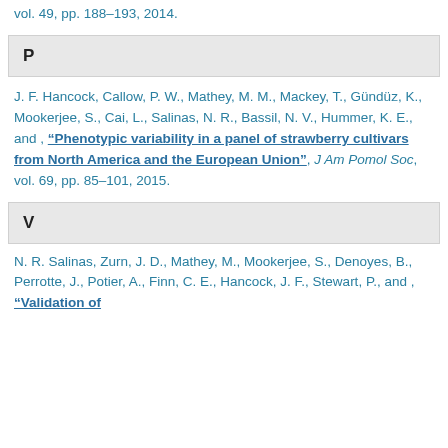vol. 49, pp. 188–193, 2014.
P
J. F. Hancock, Callow, P. W., Mathey, M. M., Mackey, T., Gündüz, K., Mookerjee, S., Cai, L., Salinas, N. R., Bassil, N. V., Hummer, K. E., and , "Phenotypic variability in a panel of strawberry cultivars from North America and the European Union", J Am Pomol Soc, vol. 69, pp. 85–101, 2015.
V
N. R. Salinas, Zurn, J. D., Mathey, M., Mookerjee, S., Denoyes, B., Perrotte, J., Potier, A., Finn, C. E., Hancock, J. F., Stewart, P., and , "Validation of...